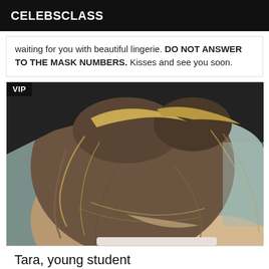CELEBSCLASS
waiting for you with beautiful lingerie. DO NOT ANSWER TO THE MASK NUMBERS. Kisses and see you soon.
[Figure (photo): Close-up back view of a young woman with blonde hair in a messy bun, wearing a white top, with a blurred background. A VIP badge is overlaid in the top-left corner.]
Tara, young student